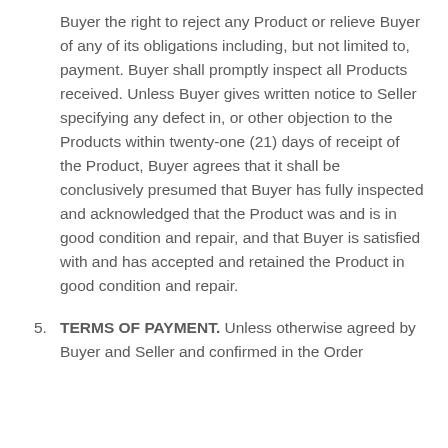Buyer the right to reject any Product or relieve Buyer of any of its obligations including, but not limited to, payment. Buyer shall promptly inspect all Products received. Unless Buyer gives written notice to Seller specifying any defect in, or other objection to the Products within twenty-one (21) days of receipt of the Product, Buyer agrees that it shall be conclusively presumed that Buyer has fully inspected and acknowledged that the Product was and is in good condition and repair, and that Buyer is satisfied with and has accepted and retained the Product in good condition and repair.
5. TERMS OF PAYMENT. Unless otherwise agreed by Buyer and Seller and confirmed in the Order